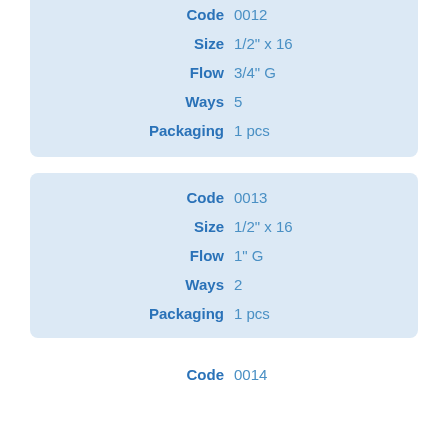| Field | Value |
| --- | --- |
| Code | 0012 |
| Size | 1/2" x 16 |
| Flow | 3/4" G |
| Ways | 5 |
| Packaging | 1 pcs |
| Field | Value |
| --- | --- |
| Code | 0013 |
| Size | 1/2" x 16 |
| Flow | 1" G |
| Ways | 2 |
| Packaging | 1 pcs |
| Field | Value |
| --- | --- |
| Code | 0014 |